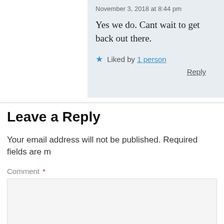November 3, 2018 at 8:44 pm
Yes we do. Cant wait to get back out there.
★ Liked by 1 person
Reply
Leave a Reply
Your email address will not be published. Required fields are m
Comment *